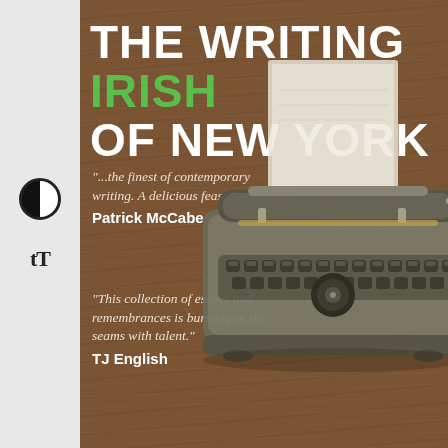[Figure (illustration): Book cover for 'The Writing Irish of New York' showing a vintage typewriter on a wooden surface background. The cover has a dark brown wood-grain background with a large antique typewriter in the right portion. White and green bold title text at top. Two pull quotes from Patrick McCabe and TJ English on the left side.]
THE WRITING IRISH OF NEW YORK
"...the finest of contemporary writing. A delicious feast."
Patrick McCabe
"This collection of essays and remembrances is bursting at the seams with talent."
TJ English